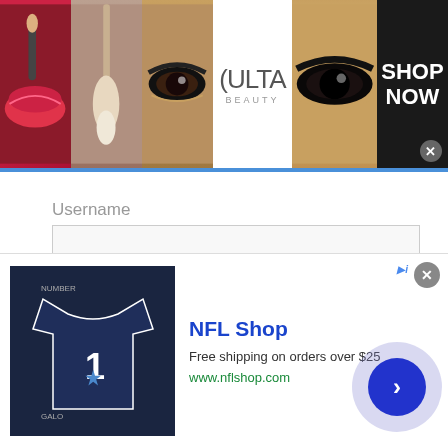[Figure (screenshot): Ulta Beauty banner advertisement with makeup photos (lips, brush, eye), Ulta logo, eye close-up, and SHOP NOW text with close button]
Username
[Figure (screenshot): Empty username text input field]
Password
[Figure (screenshot): Empty password text input field]
Remember Me
[Figure (screenshot): Blue LOGIN button]
[Figure (screenshot): NFL Shop advertisement banner with football jersey, close button, and arrow navigation circle. Text: NFL Shop, Free shipping on orders over $25, www.nflshop.com]